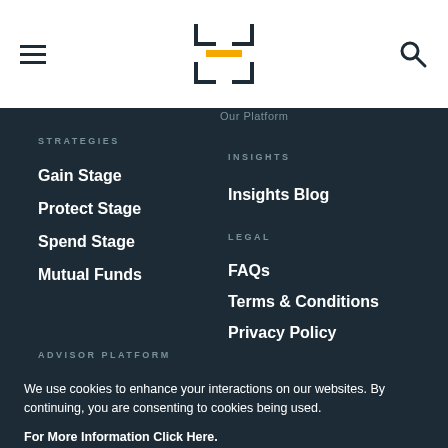Navigation header with hamburger menu, logo, and search icon
Our Platform
STRATEGIES
Gain Stage
Protect Stage
Spend Stage
Mutual Funds
INSIGHTS
Insights Blog
LEGAL
FAQs
Terms & Conditions
Privacy Policy
ADVISOR PLATFORM
We use cookies to enhance your interactions on our websites. By continuing, you are consenting to cookies being used. For More Information Click Here.
Cookie settings | ACCEPT